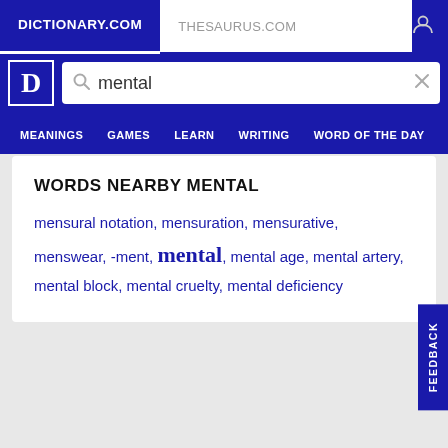DICTIONARY.COM | THESAURUS.COM
[Figure (screenshot): Dictionary.com logo with D icon and search bar showing 'mental']
MEANINGS  GAMES  LEARN  WRITING  WORD OF THE DAY
WORDS NEARBY MENTAL
mensural notation, mensuration, mensurative, menswear, -ment, mental, mental age, mental artery, mental block, mental cruelty, mental deficiency